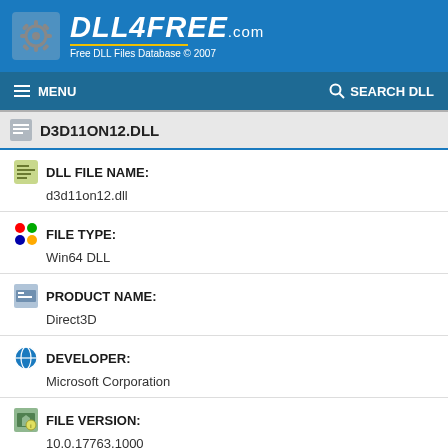DLL4FREE.com — Free DLL Files Database © 2007
≡ MENU   🔍 SEARCH DLL
D3D11ON12.DLL
DLL FILE NAME: d3d11on12.dll
FILE TYPE: Win64 DLL
PRODUCT NAME: Direct3D
DEVELOPER: Microsoft Corporation
FILE VERSION: 10.0.17763.1000
FILE SIZE: